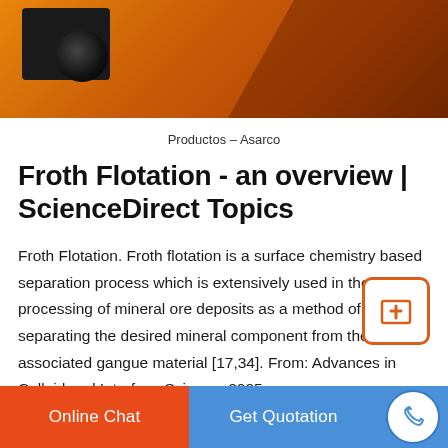[Figure (photo): Industrial equipment photo showing an orange/yellow machine with a dark square vent/opening, against an orange-red background]
Productos – Asarco
Froth Flotation - an overview | ScienceDirect Topics
Froth Flotation. Froth flotation is a surface chemistry based separation process which is extensively used in the processing of mineral ore deposits as a method of separating the desired mineral component from their associated gangue material [17,34]. From: Advances in Colloid and Interface Science, 2005.
Online Chat   Get Quotation